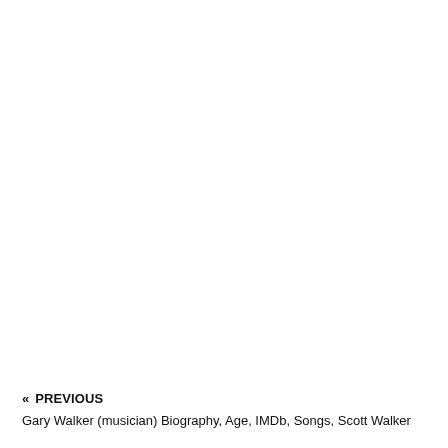« PREVIOUS
Gary Walker (musician) Biography, Age, IMDb, Songs, Scott Walker
Gary Walker (musician) Biography, Age, IMDb, Songs, Scott Walker